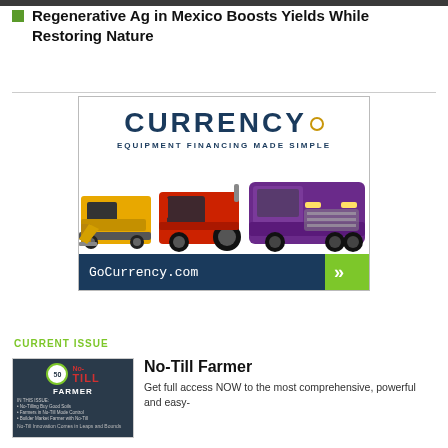Regenerative Ag in Mexico Boosts Yields While Restoring Nature
[Figure (photo): Currency Equipment Financing Made Simple advertisement showing a yellow skid steer, red tractor, and purple semi truck with GoCurrency.com call-to-action button]
CURRENT ISSUE
[Figure (photo): No-Till Farmer magazine cover thumbnail showing No-Till Innovation Comes in Leaps and Bounds]
No-Till Farmer
Get full access NOW to the most comprehensive, powerful and easy-